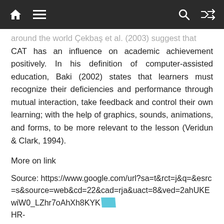Navigation bar with home, menu, search, and shuffle icons
around the world Çekbaş et al. (2003) suggest that CAT has an influence on academic achievement positively. In his definition of computer-assisted education, Baki (2002) states that learners must recognize their deficiencies and performance through mutual interaction, take feedback and control their own learning; with the help of graphics, sounds, animations, and forms, to be more relevant to the lesson (Veridun & Clark, 1994).
More on link
Source: https://www.google.com/url?sa=t&rct=j&q=&esrc=s&source=web&cd=22&cad=rja&uact=8&ved=2ahUKEwiW0_LZhr7oAhXh8KYKHR-